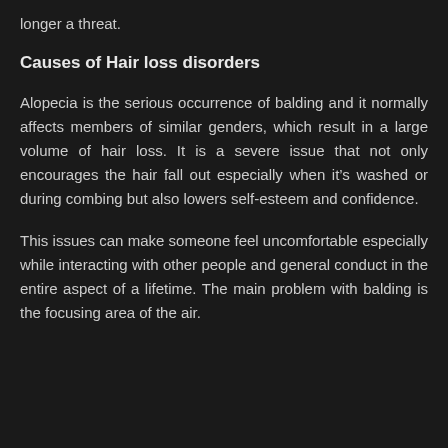longer a threat.
Causes of Hair loss disorders
Alopecia is the serious occurrence of balding and it normally affects members of similar genders, which result in a large volume of hair loss. It is a severe issue that not only encourages the hair fall out especially when it's washed or during combing but also lowers self-esteem and confidence.
This issues can make someone feel uncomfortable especially while interacting with other people and general conduct in the entire aspect of a lifetime. The main problem with balding is the focusing area of the air.